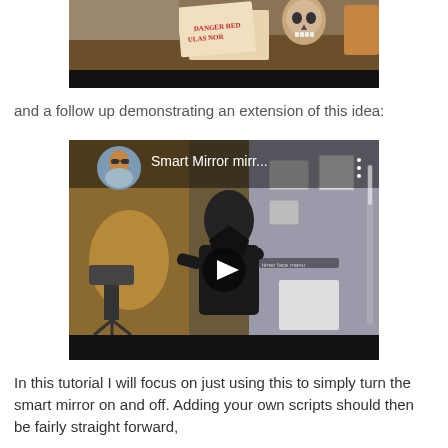[Figure (screenshot): Top portion of a video thumbnail showing a desk with a decorative skull and some papers, with a black bar at the bottom]
and a follow up demonstrating an extension of this idea:
[Figure (screenshot): YouTube video thumbnail showing 'Smart Mirror mirr...' with a circular avatar of a man in the top left, a play button in the center, and a person standing in a room with a camera on a tripod]
In this tutorial I will focus on just using this to simply turn the smart mirror on and off. Adding your own scripts should then be fairly straight forward,